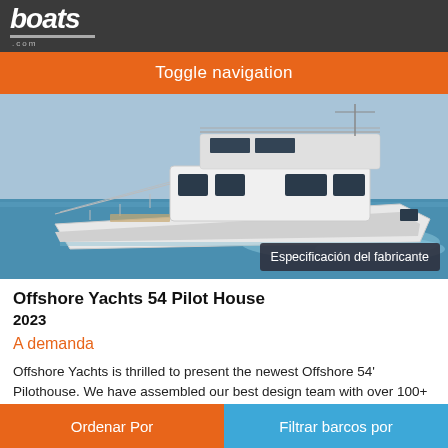boats .com
Toggle navigation
[Figure (photo): A white Offshore Yachts 54 Pilot House motorboat underway on blue water, viewed from a starboard-forward angle. The boat shows a large pilothouse with multiple windows, railings on the bow, and a wake behind it.]
Especificación del fabricante
Offshore Yachts 54 Pilot House
2023
A demanda
Offshore Yachts is thrilled to present the newest Offshore 54' Pilothouse. We have assembled our best design team with over 100+ years combined boat building, commissioning and service experience.
Ordenar Por | Filtrar barcos por